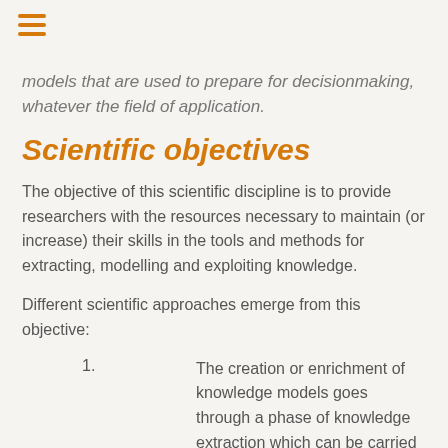models that are used to prepare for decisionmaking, whatever the field of application.
Scientific objectives
The objective of this scientific discipline is to provide researchers with the resources necessary to maintain (or increase) their skills in the tools and methods for extracting, modelling and exploiting knowledge.
Different scientific approaches emerge from this objective:
The creation or enrichment of knowledge models goes through a phase of knowledge extraction which can be carried out either by